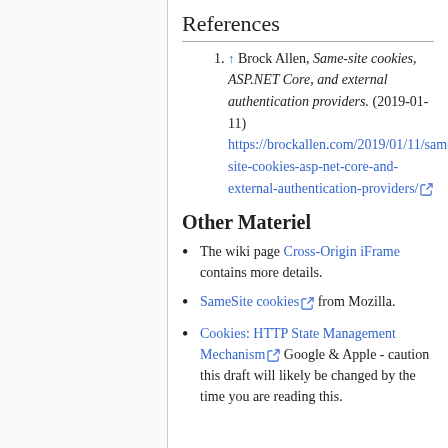References
↑ Brock Allen, Same-site cookies, ASP.NET Core, and external authentication providers. (2019-01-11) https://brockallen.com/2019/01/11/same-site-cookies-asp-net-core-and-external-authentication-providers/
Other Materiel
The wiki page Cross-Origin iFrame contains more details.
SameSite cookies from Mozilla.
Cookies: HTTP State Management Mechanism Google & Apple - caution this draft will likely be changed by the time you are reading this.